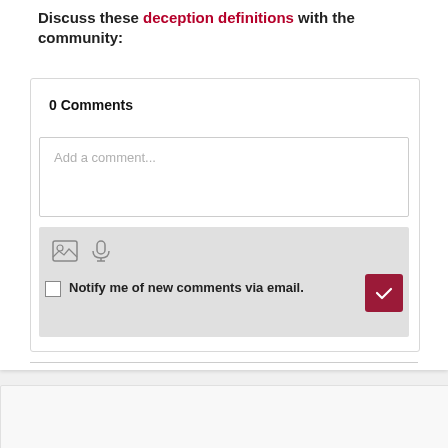Discuss these deception definitions with the community:
0 Comments
Add a comment...
Notify me of new comments via email.